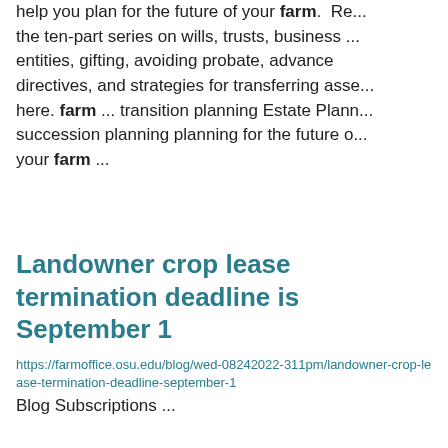help you plan for the future of your farm.  Re... the ten-part series on wills, trusts, business ... entities, gifting, avoiding probate, advance directives, and strategies for transferring asse... here. farm ... transition planning Estate Plann... succession planning planning for the future o... your farm ...
Landowner crop lease termination deadline is September 1
https://farmoffice.osu.edu/blog/wed-08242022-311pm/landowner-crop-lease-termination-deadline-september-1
Blog Subscriptions ...